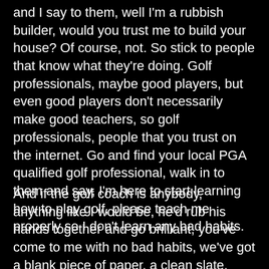and I say to them, well I'm a rubbish builder, would you trust me to build your house? Of course, not. So stick to people that know what they're doing. Golf professionals, maybe good players, but even good players don't necessarily make good teachers, so golf professionals, people that you trust on the internet. Go and find your local PGA qualified golf professional, walk in to them and say, I'm here to start learning how to play golf, please teach me properly so I don't learn any bad habits.
And if the golf coach is anybody, anything like I would be, he'd rub his hands together and go brilliant, you've come to me with no bad habits, we've got a blank piece of paper, a clean slate, you're perfect. You will improve faster than the next guy that walks through the door who's been playing for two years, but he's